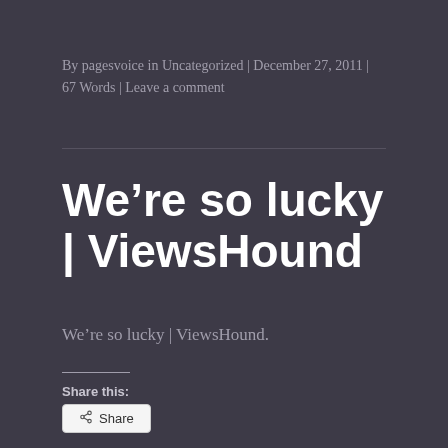By pagesvoice in Uncategorized | December 27, 2011 | 67 Words | Leave a comment
We're so lucky | ViewsHound
We're so lucky | ViewsHound.
Share this:
Share